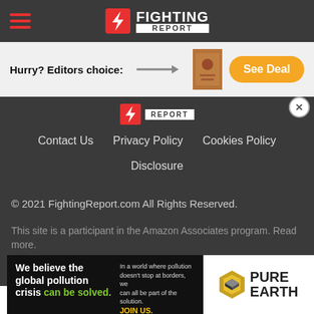Fighting Report — navigation header
Hurry? Editors choice: → See Deal
[Figure (logo): Fighting Report logo with red lightning bolt icon, FIGHTING in white bold text, REPORT in dark box below]
Contact Us   Privacy Policy   Cookies Policy   Disclosure
© 2021 FightingReport.com All Rights Reserved.
This site is a participant in the Amazon Associates program. Read more.
[Figure (infographic): Pure Earth advertisement banner: 'We believe the global pollution crisis can be solved.' with Pure Earth logo on right]